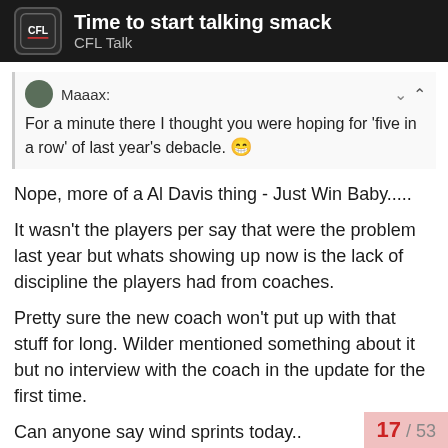Time to start talking smack — CFL Talk
Maaax: For a minute there I thought you were hoping for 'five in a row' of last year's debacle. 😁
Nope, more of a Al Davis thing - Just Win Baby.....
It wasn't the players per say that were the problem last year but whats showing up now is the lack of discipline the players had from coaches.
Pretty sure the new coach won't put up with that stuff for long. Wilder mentioned something about it but no interview with the coach in the update for the first time.
Can anyone say wind sprints today..
17 / 53